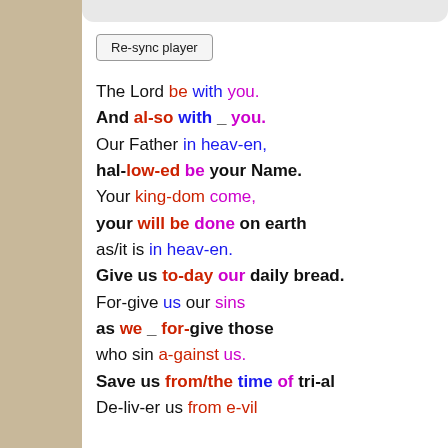Re-sync player
The Lord be with you.
And al-so with _ you.
Our Father in heav-en,
hal-low-ed be your Name.

Your king-dom come,
your will be done on earth
as/it is in heav-en.
Give us to-day our daily bread.

For-give us our sins
as we _ for-give those
who sin a-gainst us.
Save us from/the time of tri-al

De-liv-er us from e-vil